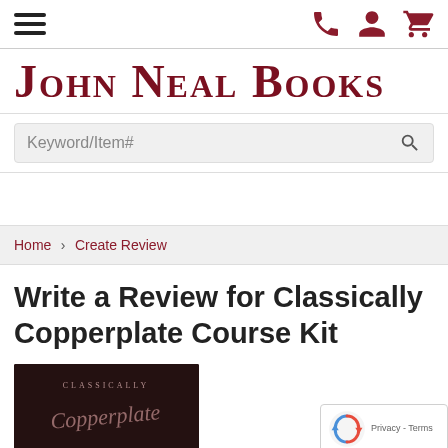John Neal Books — navigation bar with hamburger menu and icons for phone, account, cart
JOHN NEAL BOOKS
Keyword/Item# (search box)
Home > Create Review (breadcrumb)
Write a Review for Classically Copperplate Course Kit
[Figure (photo): Cover image of Classically Copperplate Course Kit book with dark maroon background and calligraphic script text]
[Figure (other): reCAPTCHA widget badge with Privacy and Terms links]